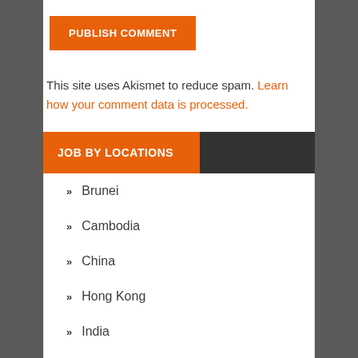PUBLISH COMMENT
This site uses Akismet to reduce spam. Learn how your comment data is processed.
JOB BY LOCATIONS
Brunei
Cambodia
China
Hong Kong
India
Indonesia
Japan